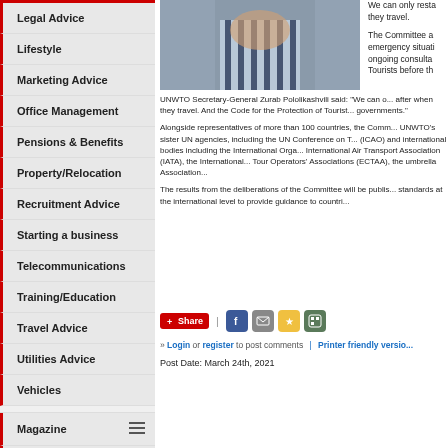Legal Advice
Lifestyle
Marketing Advice
Office Management
Pensions & Benefits
Property/Relocation
Recruitment Advice
Starting a business
Telecommunications
Training/Education
Travel Advice
Utilities Advice
Vehicles
Magazine
Subscribe
Advertising
[Figure (photo): Person in striped shirt, partial view]
We can only restate... they travel.
The Committee a... emergency situati... ongoing consulta... Tourists before th...
UNWTO Secretary-General Zurab Pololikashvili said: "We can o... after when they travel. And the Code for the Protection of Tourist... governments."
Alongside representatives of more than 100 countries, the Comm... UNWTO's sister UN agencies, including the UN Conference on T... (ICAO) and international bodies including the International Orga... International Air Transport Association (IATA), the International... Tour Operators' Associations (ECTAA), the umbrella Association...
The results from the deliberations of the Committee will be publis... standards at the international level to provide guidance to countri...
Share
» Login or register to post comments | Printer friendly version
Post Date: March 24th, 2021